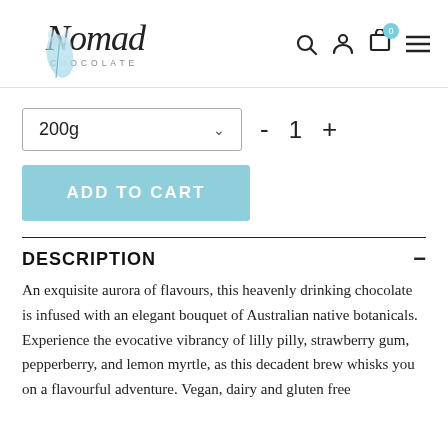Nomad Chocolate — header with logo and navigation icons (search, account, cart with 0, menu)
200g — size selector dropdown
- 1 + quantity controls
ADD TO CART
DESCRIPTION
An exquisite aurora of flavours, this heavenly drinking chocolate is infused with an elegant bouquet of Australian native botanicals. Experience the evocative vibrancy of lilly pilly, strawberry gum, pepperberry, and lemon myrtle, as this decadent brew whisks you on a flavourful adventure. Vegan, dairy and gluten free